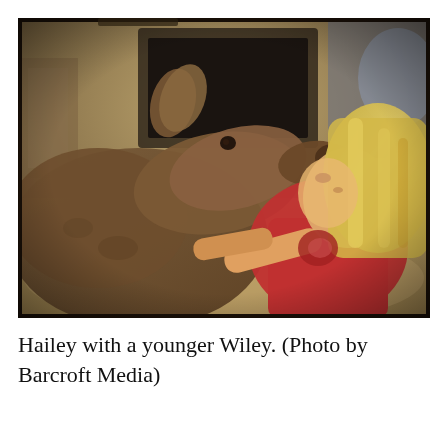[Figure (photo): A young girl with blonde hair wearing a red shirt sits on the floor indoors, face-to-face with a young deer (fawn). The deer appears to be nuzzling or about to touch noses with the girl. The background shows a carpeted living room interior.]
Hailey with a younger Wiley. (Photo by Barcroft Media)